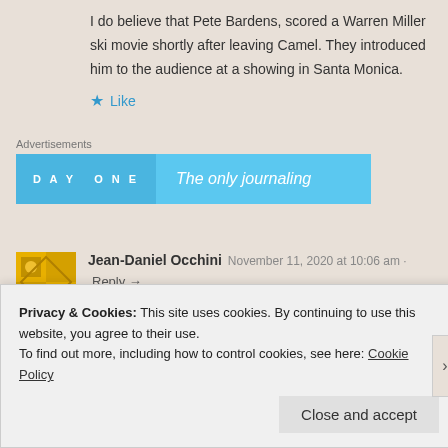I do believe that Pete Bardens, scored a Warren Miller ski movie shortly after leaving Camel. They introduced him to the audience at a showing in Santa Monica.
★ Like
Advertisements
[Figure (screenshot): Day One app advertisement banner - blue background with 'DAY ONE' text and 'The only journaling' text]
Jean-Daniel Occhini  November 11, 2020 at 10:06 am · Reply →
Bonjour,bel article,je connais Andy et j'ai pu assister a 8 concerts
Privacy & Cookies: This site uses cookies. By continuing to use this website, you agree to their use.
To find out more, including how to control cookies, see here: Cookie Policy
Close and accept